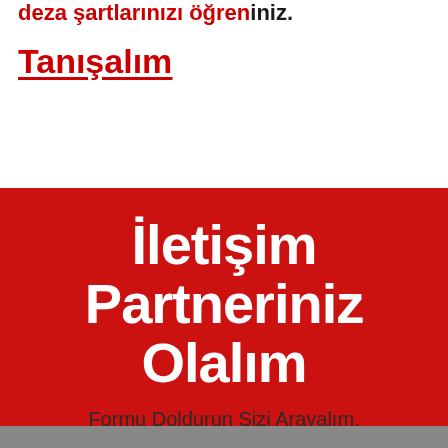deza şartlarınızı öğreniz.
Tanışalım
İletişim Partneriniz Olalım
Formu Doldurun Sizi Arayalım.
Ad Soyad